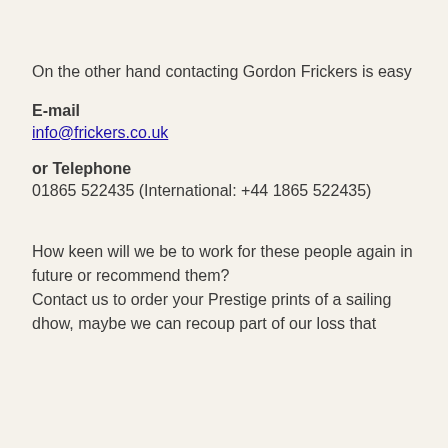On the other hand contacting Gordon Frickers is easy
E-mail
info@frickers.co.uk
or Telephone
01865 522435 (International: +44 1865 522435)
How keen will we be to work for these people again in future or recommend them?
Contact us to order your Prestige prints of a sailing dhow, maybe we can recoup part of our loss that